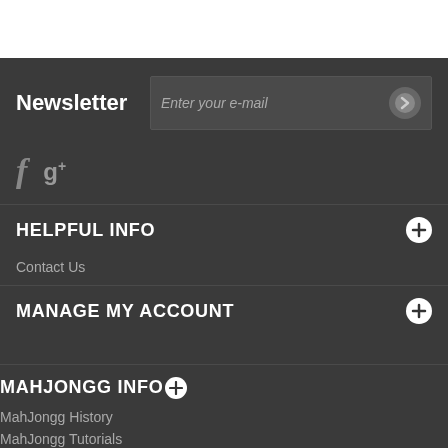Newsletter
Enter your e-mail
[Figure (illustration): Facebook and Google+ social media icons]
HELPFUL INFO
Contact Us
MANAGE MY ACCOUNT
MAHJONGG INFO
MahJongg History
MahJongg Tutorials
Frequently Asked Questions